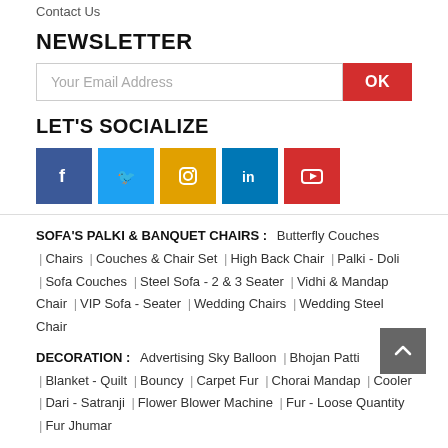Contact Us
NEWSLETTER
Your Email Address | OK
LET'S SOCIALIZE
[Figure (infographic): Social media icon buttons: Facebook (blue), Twitter (light blue), Instagram (orange), LinkedIn (dark blue), YouTube (red)]
SOFA'S PALKI & BANQUET CHAIRS : Butterfly Couches | Chairs | Couches & Chair Set | High Back Chair | Palki - Doli | Sofa Couches | Steel Sofa - 2 & 3 Seater | Vidhi & Mandap Chair | VIP Sofa - Seater | Wedding Chairs | Wedding Steel Chair
DECORATION : Advertising Sky Balloon | Bhojan Patti | Blanket - Quilt | Bouncy | Carpet Fur | Chorai Mandap | Cooler | Dari - Satranji | Flower Blower Machine | Fur - Loose Quantity | Fur Jhumar | Fur Lantern | Fur Parda | Fur Poli | Gaddi - Foam - Mattress Cover